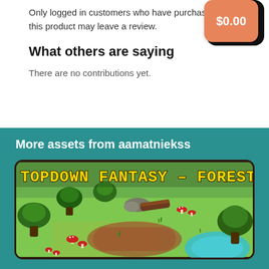Only logged in customers who have purchased this product may leave a review.
What others are saying
There are no contributions yet.
More assets from aamatniekss
[Figure (screenshot): Game asset screenshot showing a top-down fantasy forest scene with the title 'TOPDOWN FANTASY – FOREST' in yellow pixel font, featuring trees, mushrooms, rocks, and a pond.]